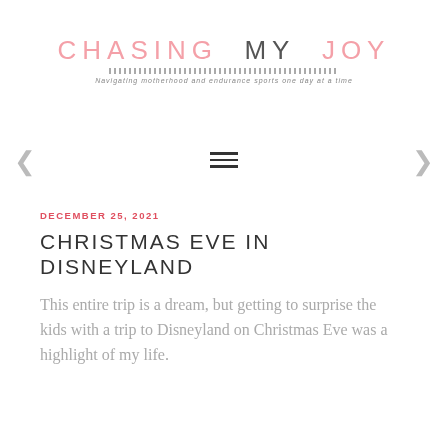CHASING MY JOY — Navigating motherhood and endurance sports one day at a time
[Figure (other): Hamburger menu icon (three horizontal lines) centered, with left and right navigation arrows on either side]
DECEMBER 25, 2021
CHRISTMAS EVE IN DISNEYLAND
This entire trip is a dream, but getting to surprise the kids with a trip to Disneyland on Christmas Eve was a highlight of my life.